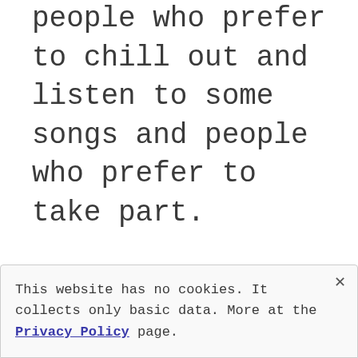people who prefer to chill out and listen to some songs and people who prefer to take part.
This website has no cookies. It collects only basic data. More at the Privacy Policy page.